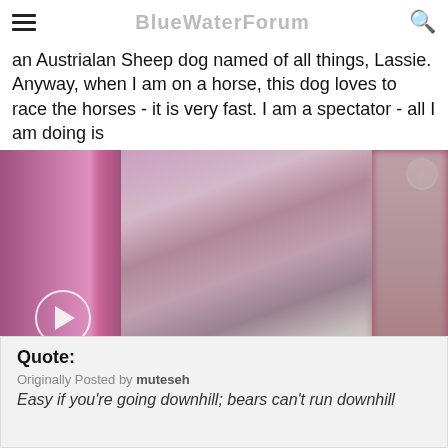an Austrialan Sheep dog named of all things, Lassie. Anyway, when I am on a horse, this dog loves to race the horses - it is very fast. I am a spectator - all I am doing is
[Figure (photo): Video thumbnail showing a small child in a pink outfit and pink helmet riding a small bicycle on a paved path. The left and right edges are blurred/out of frame. A play button circle is visible on the left side.]
Ice Eater
Quote:
Originally Posted by muteseh
Easy if you're going downhill; bears can't run downhill